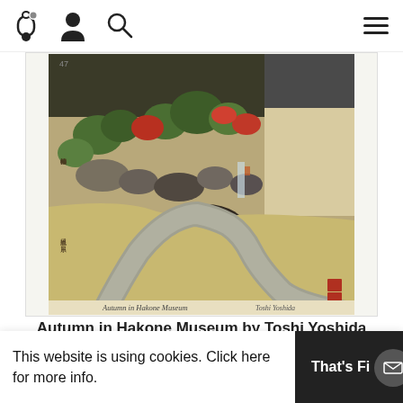Navigation bar with bell/notification icon, user icon, search icon, and hamburger menu
[Figure (photo): Japanese woodblock print 'Autumn in Hakone Museum' by Toshi Yoshida showing a traditional garden with winding paths, rocks, trees with autumn foliage, and a building. Text in cursive at bottom reads 'Autumn in Hakone Museum' with artist signature.]
Autumn in Hakone Museum by Toshi Yoshida
[Figure (photo): Partially visible artwork showing a blue/purple rectangular form on a beige background, with a small dark rectangular element on the right side.]
This website is using cookies. Click here for more info.
That's Fi